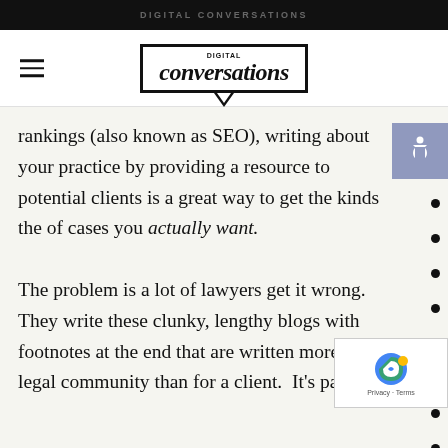DIGITAL CONVERSATIONS
[Figure (logo): Digital Conversations logo in speech bubble outline box]
rankings (also known as SEO), writing about your practice by providing a resource to potential clients is a great way to get the kinds the of cases you actually want.

The problem is a lot of lawyers get it wrong. They write these clunky, lengthy blogs with footnotes at the end that are written more for a legal community than for a client.  It's painful.